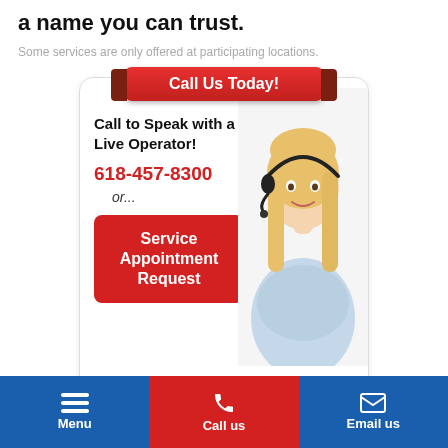a name you can trust.
Some services are only offered at participating locations.
[Figure (infographic): Call Us Today promotional card with a live operator image, phone number 618-457-8300, and a Service Appointment Request red button. Header ribbon reads 'Call Us Today!'.]
Menu | Call us | Email us